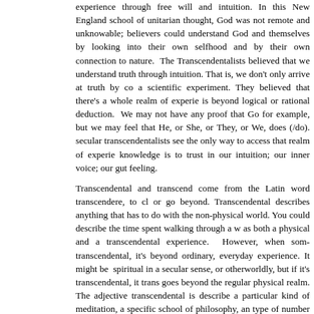experience through free will and intuition. In this New England school of unitarian thought, God was not remote and unknowable; believers could understand God and themselves by looking into their own selfhood and by their own connection to nature. The Transcendentalists believed that we understand truth through intuition. That is, we don't only arrive at truth by conducting a scientific experiment. They believed that there's a whole realm of experience that is beyond logical or rational deduction. We may not have any proof that God exists, for example, but we may feel that He, or She, or They, or We, does (/do). Both secular transcendentalists see the only way to access that realm of experience and knowledge is to trust in our intuition; our inner voice; our gut feeling.
Transcendental and transcend come from the Latin word transcendere, to climb or go beyond. Transcendental describes anything that has to do with the non-physical world. You could describe the time spent walking through a wood as both a physical and a transcendental experience. However, when something is transcendental, it's beyond ordinary, everyday experience. It might be spiritual in a secular sense, or otherworldly, but if it's transcendental, it transcends, goes beyond the regular physical realm. The adjective transcendental is used to describe a particular kind of meditation, a specific school of philosophy, and a type of number in mathematics. Compared with Emerson's original vision, transcendentalism now leads people to adopt a oneness in Nature without the mediation of a deity.
The first transcendentalists assumed a universe divided into two essential parts: soul (the individual) and nature (Earth's ecosystems). Henry Thoreau defined nature as: "all that is separate from us, all which Philosophy distinguishes as the Not Me, that is, both nature and art, all other men and my own body." Soul, in religious philosophy, is the immaterial aspect or essence of a human being, which